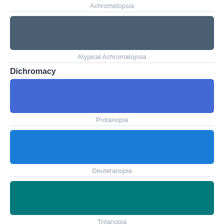Achromatopsia
[Figure (illustration): Color swatch representing Achromatopsia — muted dark blue-gray rectangle]
Atypical Achromatopsia
Dichromacy
[Figure (illustration): Color swatch representing Protanopia — medium blue rectangle]
Protanopia
[Figure (illustration): Color swatch representing Deuteranopia — bright blue rectangle]
Deuteranopia
[Figure (illustration): Color swatch representing Tritanopia — teal/dark cyan rectangle]
Tritanopia